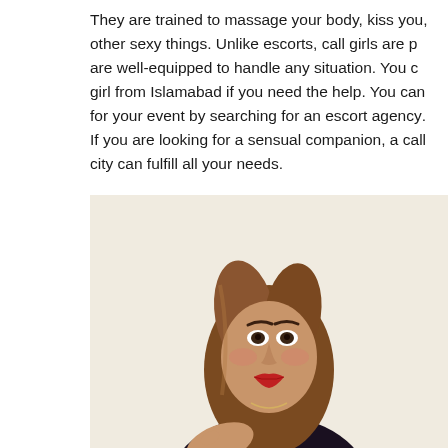They are trained to massage your body, kiss you, other sexy things. Unlike escorts, call girls are p... are well-equipped to handle any situation. You c... girl from Islamabad if you need the help. You ca... for your event by searching for an escort agency... If you are looking for a sensual companion, a ca... city can fulfill all your needs.
[Figure (photo): Portrait photo of a young woman with long brown hair, red lipstick, wearing a dark lace top, posing against a light beige background.]